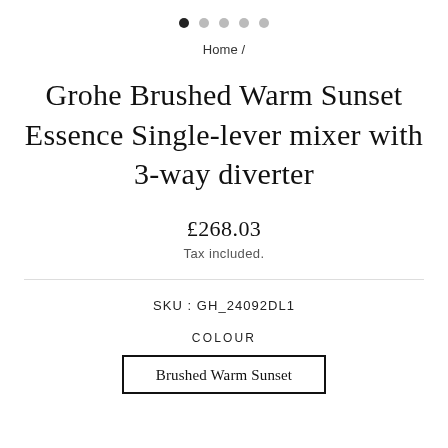[Figure (other): Image carousel dots navigation: one filled black dot followed by four grey dots]
Home /
Grohe Brushed Warm Sunset Essence Single-lever mixer with 3-way diverter
£268.03
Tax included.
SKU : GH_24092DL1
COLOUR
Brushed Warm Sunset